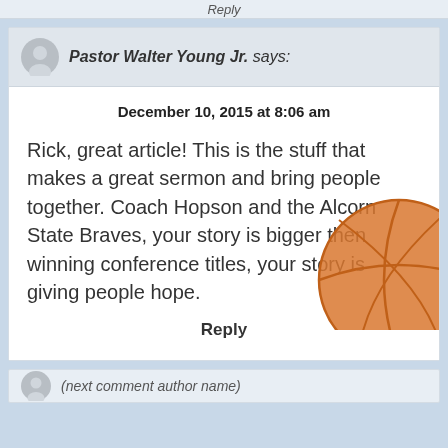Reply
Pastor Walter Young Jr. says:
December 10, 2015 at 8:06 am
Rick, great article! This is the stuff that makes a great sermon and bring people together. Coach Hopson and the Alcorn State Braves, your story is bigger then winning conference titles, your story is giving people hope.
Reply
[Figure (photo): Basketball partially visible in bottom-right corner of comment area]
(next comment author name partially visible)